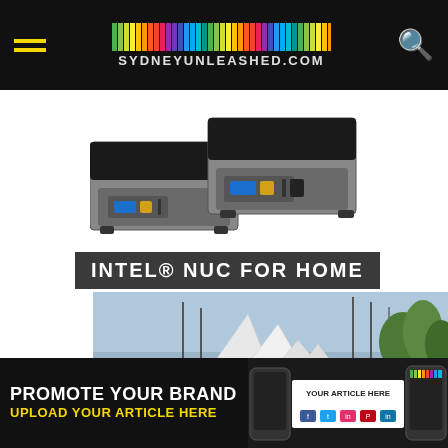SYDNEYUNLEASHED.COM
[Figure (photo): Two Intel NUC mini PC units shown side by side]
INTEL® NUC FOR HOME
[Figure (photo): Sydney Opera House view from a waterfront restaurant with blue teal seating]
PROMOTE YOUR BRAND UPLOAD YOUR ARTICLE HERE | YOUR ARTICLE HERE